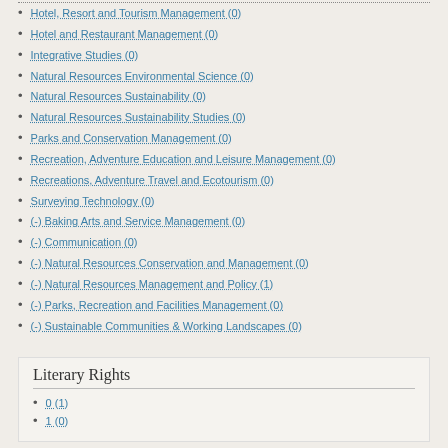Hotel, Resort and Tourism Management (0)
Hotel and Restaurant Management (0)
Integrative Studies (0)
Natural Resources Environmental Science (0)
Natural Resources Sustainability (0)
Natural Resources Sustainability Studies (0)
Parks and Conservation Management (0)
Recreation, Adventure Education and Leisure Management (0)
Recreations, Adventure Travel and Ecotourism (0)
Surveying Technology (0)
(-) Baking Arts and Service Management (0)
(-) Communication (0)
(-) Natural Resources Conservation and Management (0)
(-) Natural Resources Management and Policy (1)
(-) Parks, Recreation and Facilities Management (0)
(-) Sustainable Communities & Working Landscapes (0)
Literary Rights
0 (1)
1 (0)